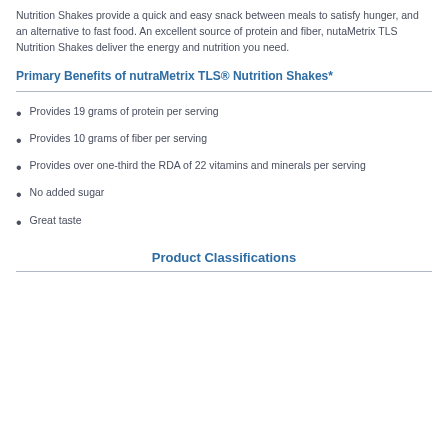Nutrition Shakes provide a quick and easy snack between meals to satisfy hunger, and an alternative to fast food. An excellent source of protein and fiber, nutaMetrix TLS Nutrition Shakes deliver the energy and nutrition you need.
Primary Benefits of nutraMetrix TLS® Nutrition Shakes*
Provides 19 grams of protein per serving
Provides 10 grams of fiber per serving
Provides over one-third the RDA of 22 vitamins and minerals per serving
No added sugar
Great taste
Product Classifications